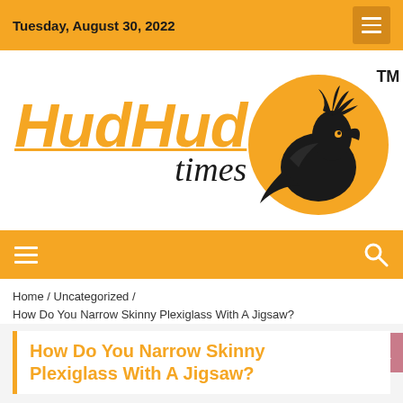Tuesday, August 30, 2022
[Figure (logo): HudHud Times logo with orange bird in a circle and stylized italic orange text 'HudHud' with black italic 'times']
Home / Uncategorized / How Do You Narrow Skinny Plexiglass With A Jigsaw?
How Do You Narrow Skinny Plexiglass With A Jigsaw?